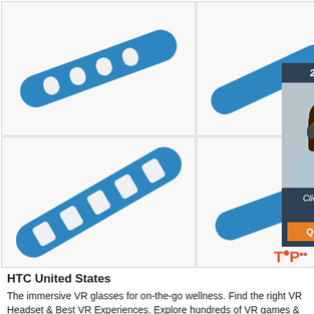[Figure (photo): Four product photos of a blue silicone strap/band with holes and a buckle end, shown from different angles. An advertisement overlay is visible on the right side showing a customer service agent with headset, text '24/7 Online', 'Click here for free chat!', and 'QUOTATION' button.]
HTC United States
The immersive VR glasses for on-the-go wellness. Find the right VR Headset & Best VR Experiences. Explore hundreds of VR games & apps. VR Solutions built for Business. HTC 5G HUB World's 5G smart hub for home, business and in between. If playback doesn't begin shortly, try restarting your device.